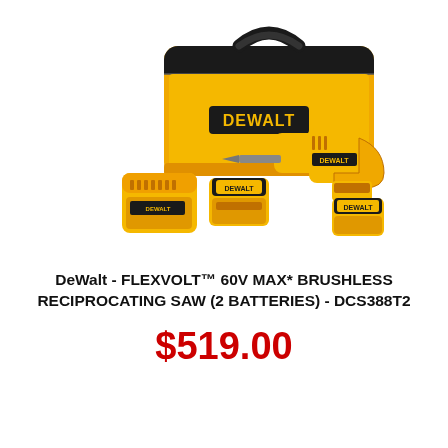[Figure (photo): DeWalt FLEXVOLT product kit showing a black and yellow tool bag with DeWalt branding, a yellow and black reciprocating saw, a yellow battery charger, and two large yellow DeWalt batteries arranged together on a white background.]
DeWalt - FLEXVOLT™ 60V MAX* BRUSHLESS RECIPROCATING SAW (2 BATTERIES) - DCS388T2
$519.00